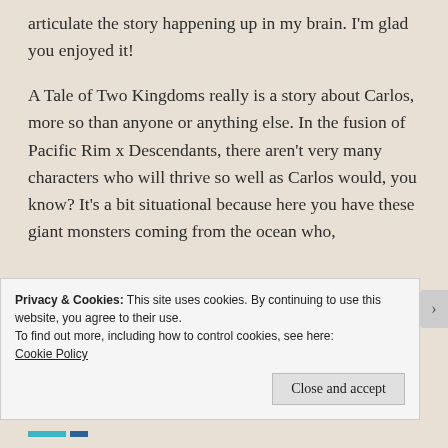articulate the story happening up in my brain. I'm glad you enjoyed it!
A Tale of Two Kingdoms really is a story about Carlos, more so than anyone or anything else. In the fusion of Pacific Rim x Descendants, there aren't very many characters who will thrive so well as Carlos would, you know? It's a bit situational because here you have these giant monsters coming from the ocean who,
Privacy & Cookies: This site uses cookies. By continuing to use this website, you agree to their use.
To find out more, including how to control cookies, see here:
Cookie Policy